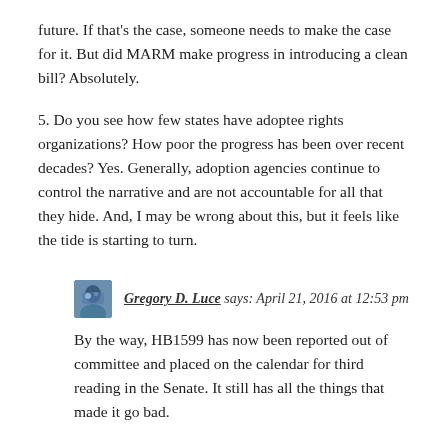future. If that's the case, someone needs to make the case for it. But did MARM make progress in introducing a clean bill? Absolutely.
5. Do you see how few states have adoptee rights organizations? How poor the progress has been over recent decades? Yes. Generally, adoption agencies continue to control the narrative and are not accountable for all that they hide. And, I may be wrong about this, but it feels like the tide is starting to turn.
Gregory D. Luce says: April 21, 2016 at 12:53 pm
By the way, HB1599 has now been reported out of committee and placed on the calendar for third reading in the Senate. It still has all the things that made it go bad.